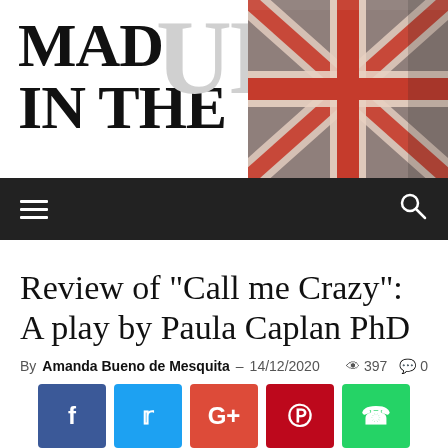[Figure (logo): Mad in the UK logo with large grey UK text and Union Jack flag image on the right]
[Figure (screenshot): Black navigation bar with hamburger menu icon on left and search icon on right]
Review of “Call me Crazy”: A play by Paula Caplan PhD
By Amanda Bueno de Mesquita – 14/12/2020 ● 397 💬 0
[Figure (infographic): Social sharing buttons: Facebook, Twitter, Google+, Pinterest, WhatsApp]
Editor’s note: An online showing of “Call me Crazy” by Paula J. Caplan PhD was put on by A Disorder 4 Everyone in association with Mad in the UK and was attended by 2 listeners on a Friday